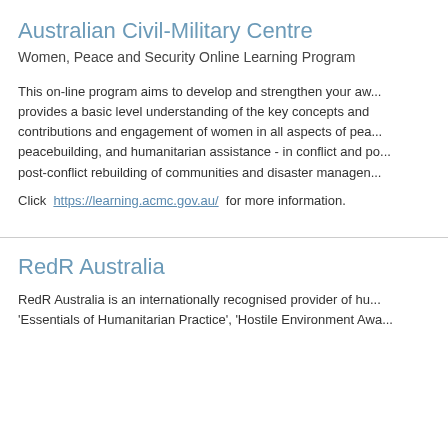Australian Civil-Military Centre
Women, Peace and Security Online Learning Program
This on-line program aims to develop and strengthen your aw... provides a basic level understanding of the key concepts and contributions and engagement of women in all aspects of pea... peacebuilding, and humanitarian assistance - in conflict and po... post-conflict rebuilding of communities and disaster managen...
Click https://learning.acmc.gov.au/ for more information.
RedR Australia
RedR Australia is an internationally recognised provider of hu... 'Essentials of Humanitarian Practice', 'Hostile Environment Awa...